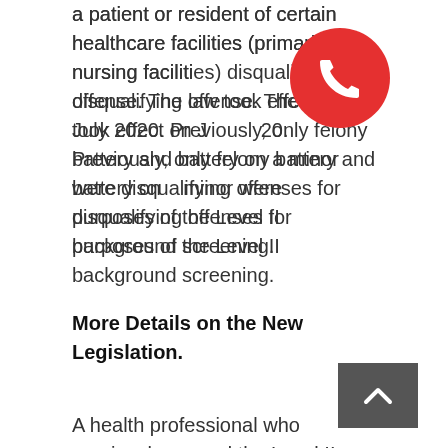a patient or resident of certain healthcare facilities (primarily nursing facilities) disqualifying offense. The law took effect on July 2020. Previously, only felony battery and battery on a minor were disqualifying offenses for purposes of the Level II background screening.
More Details on the New Legislation.
A health professional who previously passed the Level II background check may nevertheless be deemed “not eligible” for employment in a licensed health facility on the next Level II background check. This would occur if the practitioner has been found guilty of, regardless of adjudication, or entered a plea of nolo contendere or guilty to battery of a vulnerable adult, or battery on a patient or resident of a healthcare facility. (This is the wording of the statute, not mine.)
A practitioner who is determined to be “not eligible” on a